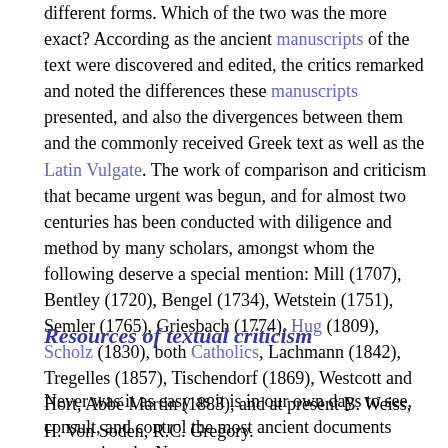different forms. Which of the two was the more exact? According as the ancient manuscripts of the text were discovered and edited, the critics remarked and noted the differences these manuscripts presented, and also the divergences between them and the commonly received Greek text as well as the Latin Vulgate. The work of comparison and criticism that became urgent was begun, and for almost two centuries has been conducted with diligence and method by many scholars, amongst whom the following deserve a special mention: Mill (1707), Bentley (1720), Bengel (1734), Wetstein (1751), Semler (1765), Griesbach (1774), Hug (1809), Scholz (1830), both Catholics, Lachmann (1842), Tregelles (1857), Tischendorf (1869), Westcott and Hort, Abbé Martin (1883), and at present B. Weiss, H. Von Soden, R.C. Gregory.
Resources of textual criticism
Never was it as easy as it is in our own days to see, consult, and control the most ancient documents concerning the New